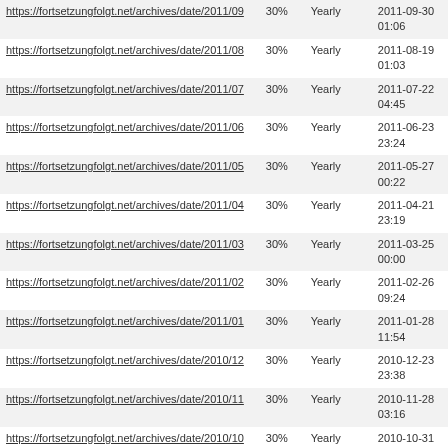| https://fortsetzungfolgt.net/archives/date/2011/09 | 30% | Yearly | 2011-09-30
01:06 |
| https://fortsetzungfolgt.net/archives/date/2011/08 | 30% | Yearly | 2011-08-19
01:03 |
| https://fortsetzungfolgt.net/archives/date/2011/07 | 30% | Yearly | 2011-07-22
04:45 |
| https://fortsetzungfolgt.net/archives/date/2011/06 | 30% | Yearly | 2011-06-23
23:24 |
| https://fortsetzungfolgt.net/archives/date/2011/05 | 30% | Yearly | 2011-05-27
00:22 |
| https://fortsetzungfolgt.net/archives/date/2011/04 | 30% | Yearly | 2011-04-21
23:19 |
| https://fortsetzungfolgt.net/archives/date/2011/03 | 30% | Yearly | 2011-03-25
00:00 |
| https://fortsetzungfolgt.net/archives/date/2011/02 | 30% | Yearly | 2011-02-26
09:24 |
| https://fortsetzungfolgt.net/archives/date/2011/01 | 30% | Yearly | 2011-01-28
11:54 |
| https://fortsetzungfolgt.net/archives/date/2010/12 | 30% | Yearly | 2010-12-23
23:38 |
| https://fortsetzungfolgt.net/archives/date/2010/11 | 30% | Yearly | 2010-11-28
03:16 |
| https://fortsetzungfolgt.net/archives/date/2010/10 | 30% | Yearly | 2010-10-31
05:56 |
| https://fortsetzungfolgt.net/archives/date/2010/09 | 30% | Yearly | 2010-09-27
15:12 |
| https://fortsetzungfolgt.net/archives/date/2010/08 | 30% | Yearly | 2010-08-27
10:55 |
Generated with Google (XML) Sitemaps Generator Plugin for WordPress by Auctollo. This XSLT template is released under the GPL and free to use.
If you have problems with your sitemap please visit the support forum.